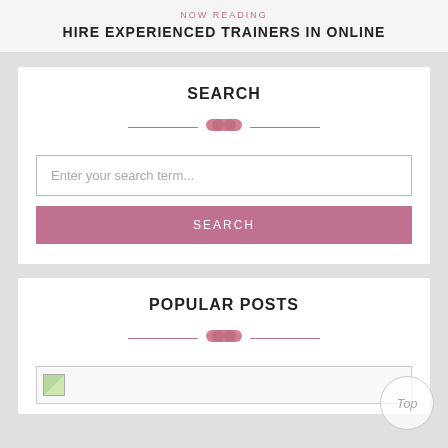NOW READING
HIRE EXPERIENCED TRAINERS IN ONLINE
SEARCH
Enter your search term...
SEARCH
POPULAR POSTS
[Figure (other): Broken image placeholder thumbnail]